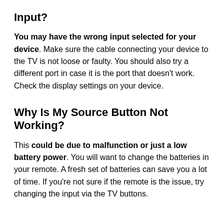Input?
You may have the wrong input selected for your device. Make sure the cable connecting your device to the TV is not loose or faulty. You should also try a different port in case it is the port that doesn't work. Check the display settings on your device.
Why Is My Source Button Not Working?
This could be due to malfunction or just a low battery power. You will want to change the batteries in your remote. A fresh set of batteries can save you a lot of time. If you're not sure if the remote is the issue, try changing the input via the TV buttons.